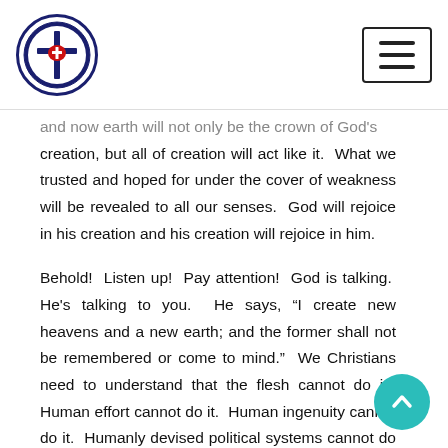Lutheran church logo and navigation menu
and now earth will not only be the crown of God's creation, but all of creation will act like it. What we trusted and hoped for under the cover of weakness will be revealed to all our senses. God will rejoice in his creation and his creation will rejoice in him.

Behold! Listen up! Pay attention! God is talking. He's talking to you. He says, “I create new heavens and a new earth; and the former shall not be remembered or come to mind.” We Christians need to understand that the flesh cannot do it. Human effort cannot do it. Human ingenuity cannot do it. Humanly devised political systems cannot do it. There is only one way to get rid of the former things that are corrupted by sin and cursed by death. That is to remove sin and